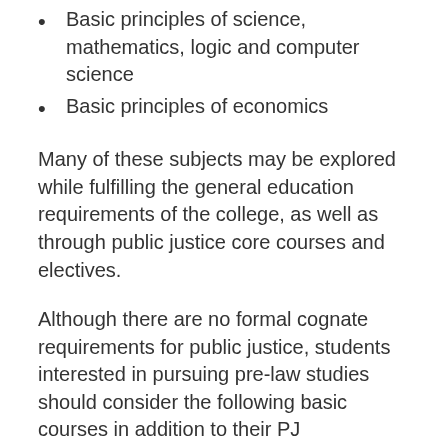Basic principles of science, mathematics, logic and computer science
Basic principles of economics
Many of these subjects may be explored while fulfilling the general education requirements of the college, as well as through public justice core courses and electives.
Although there are no formal cognate requirements for public justice, students interested in pursuing pre-law studies should consider the following basic courses in addition to their PJ requirements:
ECO 100 Principles of Macroeconomics
ECO 101 Principles of Microeconomics